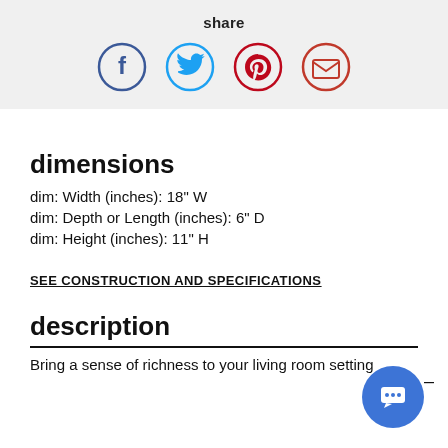share
[Figure (infographic): Four social share icons in circles: Facebook (dark blue), Twitter (light blue), Pinterest (red), Email/envelope (orange-red)]
dimensions
dim: Width (inches): 18" W
dim: Depth or Length (inches): 6" D
dim: Height (inches): 11" H
SEE CONSTRUCTION AND SPECIFICATIONS
description
Bring a sense of richness to your living room setting